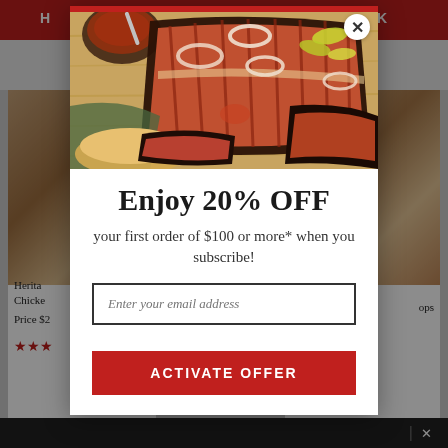[Figure (screenshot): Background of an e-commerce website showing a red top navigation bar with text 'H' and 'RK', a hamburger menu icon on the left and shopping cart icon on the right, and two product cards partially visible]
[Figure (photo): BBQ brisket sliced on a wooden cutting board with sauce, pickled peppers, and onion rings — food photo at top of modal popup]
Enjoy 20% OFF
your first order of $100 or more* when you subscribe!
Enter your email address
ACTIVATE OFFER